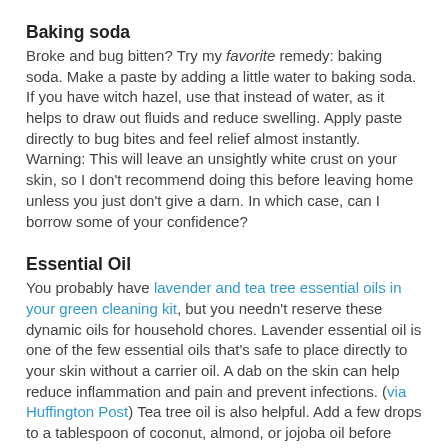Baking soda
Broke and bug bitten? Try my favorite remedy: baking soda. Make a paste by adding a little water to baking soda. If you have witch hazel, use that instead of water, as it helps to draw out fluids and reduce swelling. Apply paste directly to bug bites and feel relief almost instantly. Warning: This will leave an unsightly white crust on your skin, so I don't recommend doing this before leaving home unless you just don't give a darn. In which case, can I borrow some of your confidence?
Essential Oil
You probably have lavender and tea tree essential oils in your green cleaning kit, but you needn't reserve these dynamic oils for household chores. Lavender essential oil is one of the few essential oils that's safe to place directly to your skin without a carrier oil. A dab on the skin can help reduce inflammation and pain and prevent infections. (via Huffington Post) Tea tree oil is also helpful. Add a few drops to a tablespoon of coconut, almond, or jojoba oil before